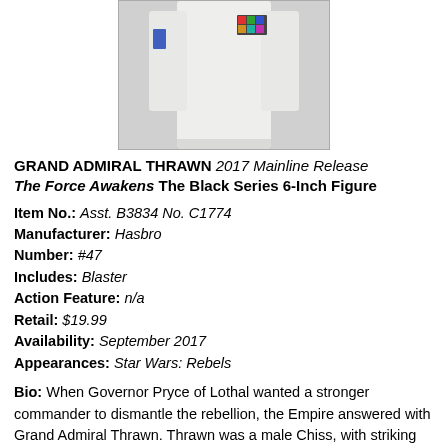[Figure (photo): Partial photo of a Grand Admiral Thrawn 6-inch action figure in white uniform, showing the torso and arms. A colorful chest insignia patch is visible on the right chest, and a blue arm patch on the left arm.]
GRAND ADMIRAL THRAWN 2017 Mainline Release The Force Awakens The Black Series 6-Inch Figure
Item No.: Asst. B3834 No. C1774
Manufacturer: Hasbro
Number: #47
Includes: Blaster
Action Feature: n/a
Retail: $19.99
Availability: September 2017
Appearances: Star Wars: Rebels
Bio: When Governor Pryce of Lothal wanted a stronger commander to dismantle the rebellion, the Empire answered with Grand Admiral Thrawn. Thrawn was a male Chiss, with striking blue skin, red eyes, and an angular face, known for his brilliant strategic mind and ruthlessness. (Taken from the